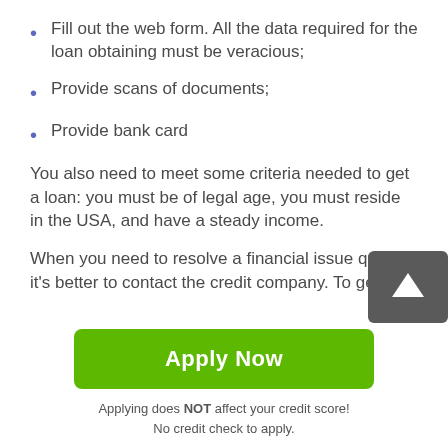Fill out the web form. All the data required for the loan obtaining must be veracious;
Provide scans of documents;
Provide bank card
You also need to meet some criteria needed to get a loan: you must be of legal age, you must reside in the USA, and have a steady income.
When you need to resolve a financial issue quickly, it's better to contact the credit company. To get the best payday loans Purchase no checking account, you nee follow the simple steps and rules. This will minimize the
[Figure (other): Gray scroll-to-top button with white upward arrow]
Apply Now
Applying does NOT affect your credit score!
No credit check to apply.